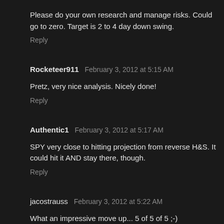Please do your own research and manage risks. Could go to zero. Target is 2 to 4 day down swing.
Reply
Rocketeer911  February 3, 2012 at 5:15 AM
Pretz, very nice analysis. Nicely done!
Reply
Authentic1  February 3, 2012 at 5:17 AM
SPY very close to hitting projection from reverse H&S. It could hit it AND stay there, though.
Reply
jacostrauss  February 3, 2012 at 5:22 AM
What an impressive move up... 5 of 5 of 5 ;-)
Reply